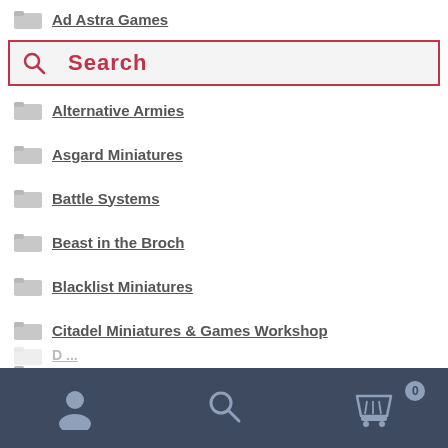Ad Astra Games
[Figure (screenshot): Search bar with red border and pink background, showing 'Search' placeholder text in red/crimson color, with a search magnifier icon on the left]
Alternative Armies
Asgard Miniatures
Battle Systems
Beast in the Broch
Blacklist Miniatures
Citadel Miniatures & Games Workshop
CMON Miniatures
Copplestone Castings
Critical Role Miniatures
[Figure (screenshot): Bottom navigation bar with dark blue/slate background, containing three icons: user/person icon on left, search magnifier icon in center, and shopping cart icon with '0' badge on right]